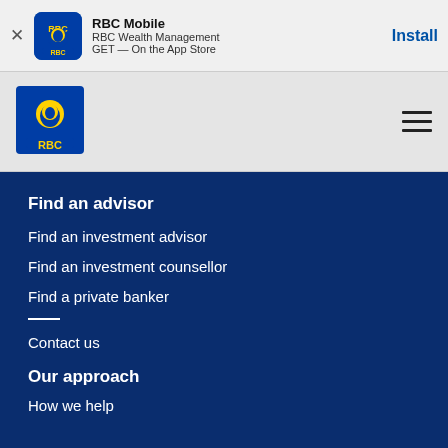[Figure (screenshot): RBC Mobile app banner with RBC logo icon, app name 'RBC Mobile', subtitle 'RBC Wealth Management', 'GET — On the App Store', and Install button]
[Figure (logo): RBC lion logo in blue and gold square, top navigation bar with hamburger menu]
Find an advisor
Find an investment advisor
Find an investment counsellor
Find a private banker
Contact us
Our approach
How we help